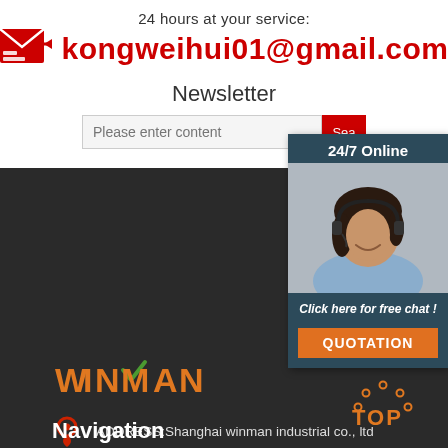24 hours at your service:
kongweihui01@gmail.com
Newsletter
Please enter content
[Figure (infographic): 24/7 Online overlay panel with customer service representative photo, 'Click here for free chat!' text, and QUOTATION button]
[Figure (logo): WINMAN logo in orange text with green checkmark]
ADDRESS:Shanghai winman industrial co., ltd
Mobile:+86 15517160690
E-mail:kongweihui01@gmail.com
Tel:+86 15517160690
Navigation